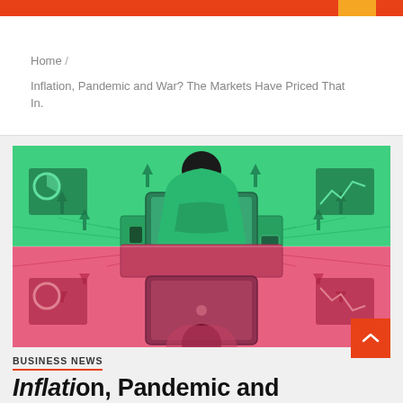Home / Inflation, Pandemic and War? The Markets Have Priced That In.
[Figure (illustration): Illustration of a person in a green hoodie working at a laptop on a desk, surrounded by rising arrow indicators and financial charts. The top half is rendered in green (bull market) and the bottom half is a mirrored reflection in red/pink (bear market), symbolizing market duality.]
BUSINESS NEWS
Inflation, Pandemic and War?